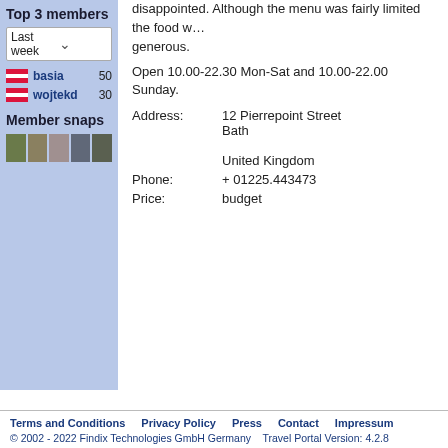disappointed. Although the menu was fairly limited the food w… generous.
Open 10.00-22.30 Mon-Sat and 10.00-22.00 Sunday.
Top 3 members
Last week
basia  50
wojtekd  30
Member snaps
[Figure (photo): Row of five small member profile photo thumbnails]
| Address: | 12 Pierrepoint Street
Bath

United Kingdom |
| Phone: | + 01225.443473 |
| Price: | budget |
Terms and Conditions   Privacy Policy   Press   Contact   Impressum
© 2002 - 2022 Findix Technologies GmbH Germany   Travel Portal Version: 4.2.8